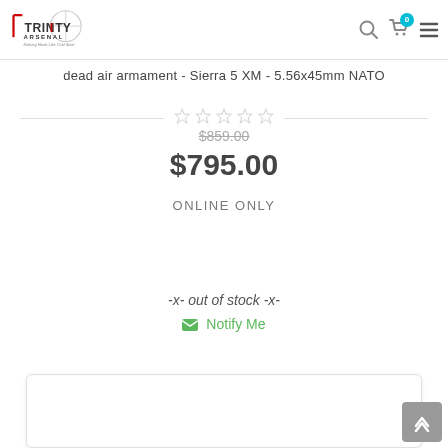Trinity Arsenal - Nothing Heals Like Cold Steel
dead air armament - Sierra 5 XM - 5.56x45mm NATO
$859.00 (original price, strikethrough)
$795.00
ONLINE ONLY
-x- out of stock -x-
Notify Me